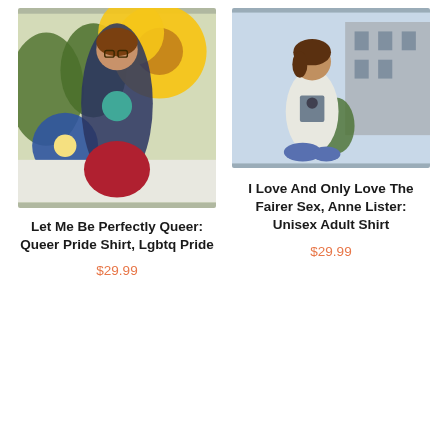[Figure (photo): Woman wearing a navy blue t-shirt with a round graphic print reading 'Let Me Be Perfectly Queer', posing in front of a colorful floral mural with yellow sunflowers and blue flowers. She wears a red skirt and glasses.]
Let Me Be Perfectly Queer: Queer Pride Shirt, Lgbtq Pride
$29.99
[Figure (photo): Young woman with short curly hair sitting outdoors wearing a white graphic t-shirt featuring an illustrated figure in a top hat, with a building in the background.]
I Love And Only Love The Fairer Sex, Anne Lister: Unisex Adult Shirt
$29.99